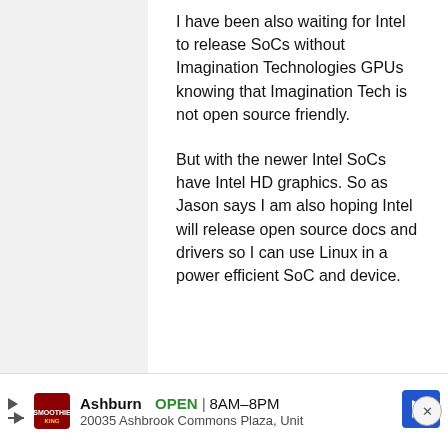I have been also waiting for Intel to release SoCs without Imagination Technologies GPUs knowing that Imagination Tech is not open source friendly.
But with the newer Intel SoCs have Intel HD graphics. So as Jason says I am also hoping Intel will release open source docs and drivers so I can use Linux in a power efficient SoC and device.
CyberGusa
Ashburn  OPEN | 8AM–8PM  20035 Ashbrook Commons Plaza, Unit